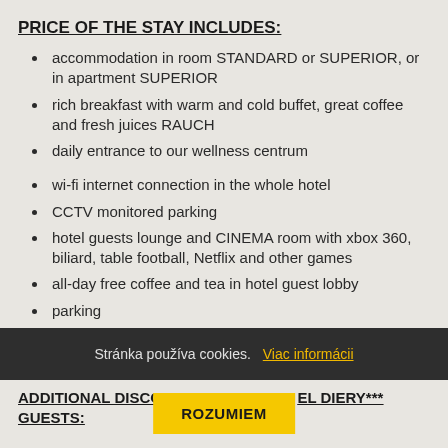PRICE OF THE STAY INCLUDES:
accommodation in room STANDARD or SUPERIOR, or in apartment SUPERIOR
rich breakfast with warm and cold buffet, great coffee and fresh juices RAUCH
daily entrance to our wellness centrum
wi-fi internet connection in the whole hotel
CCTV monitored parking
hotel guests lounge and CINEMA room with xbox 360, biliard, table football, Netflix and other games
all-day free coffee and tea in hotel guest lobby
parking
Stránka používa cookies. Viac informácii
ADDITIONAL DISCOUNTS FOR HOTEL DIERY*** GUESTS: